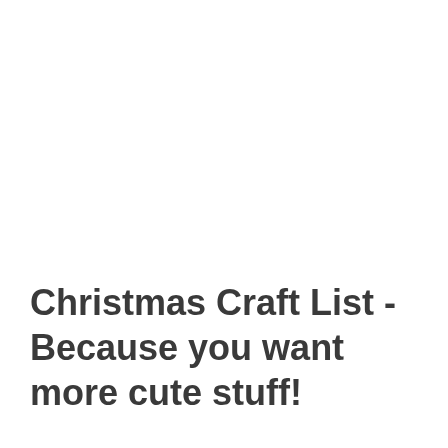Christmas Craft List - Because you want more cute stuff!